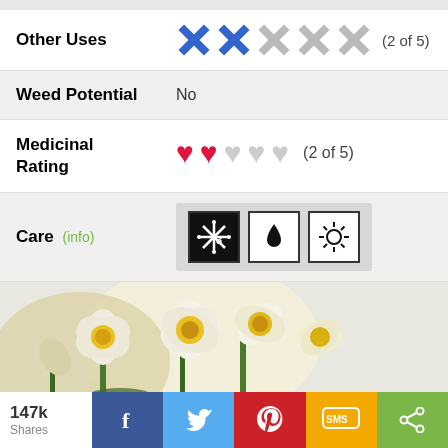Other Uses (2 of 5)
Weed Potential: No
Medicinal Rating (2 of 5)
Care (info) - frost hardy zone 3, water drop, sun icon
[Figure (photo): Close-up photo of white and yellow daffodil flowers]
147k Shares